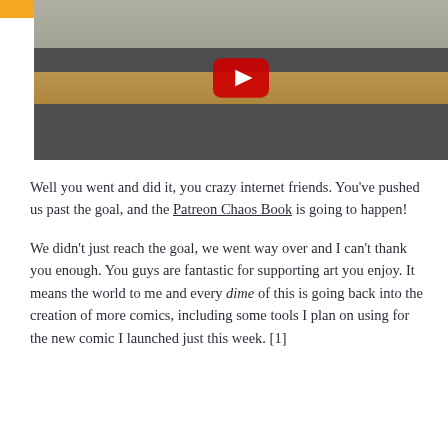[Figure (screenshot): YouTube video thumbnail showing a person sitting at a desk with a laptop, keyboard, books, and a bicycle in the background. A red YouTube play button is centered on the image.]
Well you went and did it, you crazy internet friends. You've pushed us past the goal, and the Patreon Chaos Book is going to happen!
We didn't just reach the goal, we went way over and I can't thank you enough. You guys are fantastic for supporting art you enjoy. It means the world to me and every dime of this is going back into the creation of more comics, including some tools I plan on using for the new comic I launched just this week. [1]